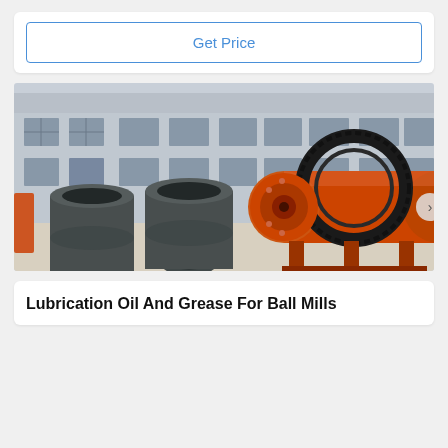Get Price
[Figure (photo): Industrial ball mill equipment with large orange cylindrical drum, black gear ring, and dark grey cylindrical pipe sections, photographed outdoors in front of a grey factory building.]
Lubrication Oil And Grease For Ball Mills